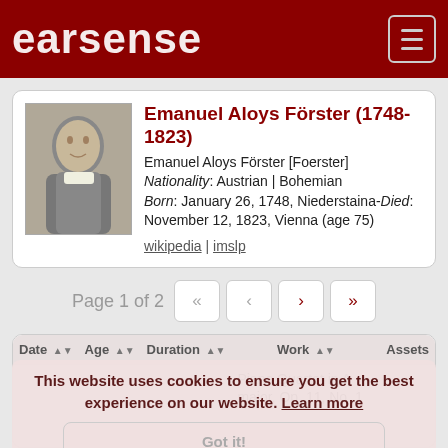earsense
Emanuel Aloys Förster (1748-1823)
Emanuel Aloys Förster [Foerster]
Nationality: Austrian | Bohemian
Born: January 26, 1748, Niederstaina-Died: November 12, 1823, Vienna (age 75)
wikipedia | imslp
Page 1 of 2
| Date | Age | Duration | Work | Assets |
| --- | --- | --- | --- | --- |
|  |  |  | Piano Quartet in A major, Op. 11, No. 1 |  |
This website uses cookies to ensure you get the best experience on our website. Learn more
Got it!